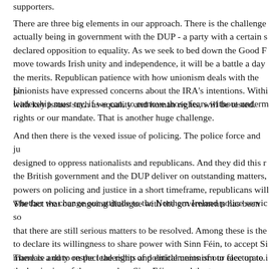supporters.
There are three big elements in our approach. There is the challenge of actually being in government with the DUP - a party with a certain s declared opposition to equality. As we seek to bed down the Good F move towards Irish unity and independence, it will be a battle a day the merits. Republican patience with how unionism deals with the pe with key issues such as equality and human rights, will be tested.
Unionists have expressed concerns about the IRA's intentions. Withi leadership must try, if we can, to remove those fears without underm rights or our mandate. That is another huge challenge.
And then there is the vexed issue of policing. The police force and ju designed to oppress nationalists and republicans. And they did this r the British government and the DUP deliver on outstanding matters, powers on policing and justice in a short timeframe, republicans will whether we change our attitude to the Northern Ireland police servic
The fact that our ongoing dialogue with the governments has been so that there are still serious matters to be resolved. Among these is the to declare its willingness to share power with Sinn Féin, to accept Si mandate and to respect the rights and entitlements of our electorate.
There is a duty on the leadership of political unionism to face up to i the beginning of the year, when Sinn Féin urged the two governmen